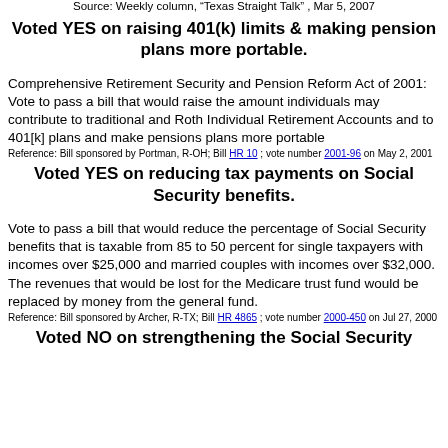Source: Weekly column, "Texas Straight Talk", Mar 5, 2007
Voted YES on raising 401(k) limits & making pension plans more portable.
Comprehensive Retirement Security and Pension Reform Act of 2001: Vote to pass a bill that would raise the amount individuals may contribute to traditional and Roth Individual Retirement Accounts and to 401[k] plans and make pensions plans more portable
Reference: Bill sponsored by Portman, R-OH; Bill HR 10 ; vote number 2001-96 on May 2, 2001
Voted YES on reducing tax payments on Social Security benefits.
Vote to pass a bill that would reduce the percentage of Social Security benefits that is taxable from 85 to 50 percent for single taxpayers with incomes over $25,000 and married couples with incomes over $32,000. The revenues that would be lost for the Medicare trust fund would be replaced by money from the general fund.
Reference: Bill sponsored by Archer, R-TX; Bill HR 4865 ; vote number 2000-450 on Jul 27, 2000
Voted NO on strengthening the Social Security